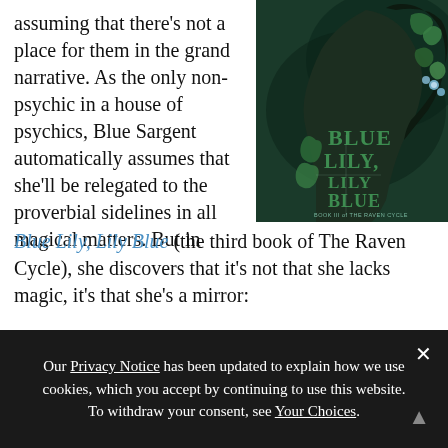assuming that there's not a place for them in the grand narrative. As the only non-psychic in a house of psychics, Blue Sargent automatically assumes that she'll be relegated to the proverbial sidelines in all magical matters. But in
[Figure (illustration): Book cover of 'Blue Lily, Lily Blue' - Book III of The Raven Cycle. Shows a stylized profile of a face with dark hair intertwined with green leaves and blue flowers.]
Blue Lily, Lily Blue (the third book of The Raven Cycle), she discovers that it's not that she lacks magic, it's that she's a mirror:
Our Privacy Notice has been updated to explain how we use cookies, which you accept by continuing to use this website. To withdraw your consent, see Your Choices.